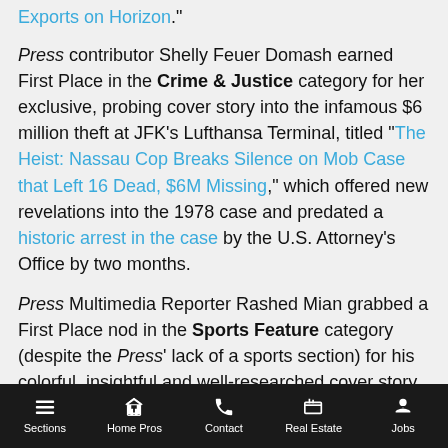Exports on Horizon."
Press contributor Shelly Feuer Domash earned First Place in the Crime & Justice category for her exclusive, probing cover story into the infamous $6 million theft at JFK's Lufthansa Terminal, titled "The Heist: Nassau Cop Breaks Silence on Mob Case that Left 16 Dead, $6M Missing," which offered new revelations into the 1978 case and predated a historic arrest in the case by the U.S. Attorney's Office by two months.
Press Multimedia Reporter Rashed Mian grabbed a First Place nod in the Sports Feature category (despite the Press' lack of a sports section) for his colorful, insightful and well-researched cover story "Julius Erving and the Nets' Glory Days on Long Island."
Sections | Home Pros | Contact | Real Estate | Jobs